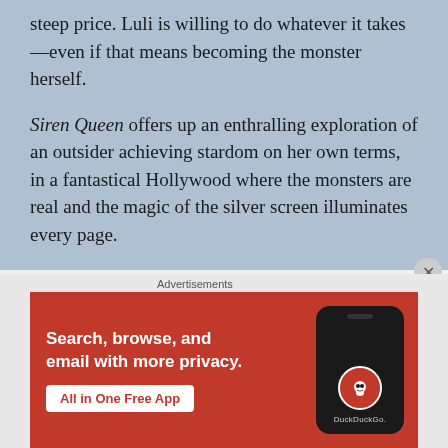steep price. Luli is willing to do whatever it takes—even if that means becoming the monster herself.

Siren Queen offers up an enthralling exploration of an outsider achieving stardom on her own terms, in a fantastical Hollywood where the monsters are real and the magic of the silver screen illuminates every page.
I have read a novella from Nghi Vo and remember really loving the writing, so I am excited to read a full novel by them! I actually have an ALC of Siren Queen from Netgalley, so look out
[Figure (other): DuckDuckGo advertisement banner with orange/red background. Text reads: 'Search, browse, and email with more privacy. All in One Free App'. Shows a smartphone with DuckDuckGo logo.]